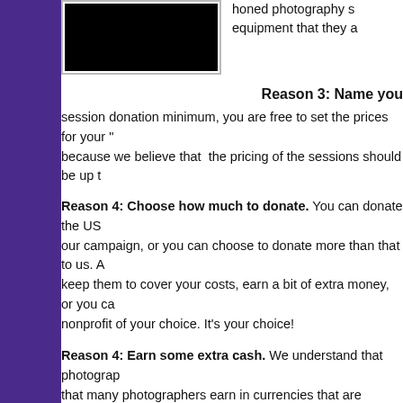[Figure (photo): A dark/black photograph in a frame, with text to the right mentioning honed photography skills and equipment.]
honed photography skills and equipment that they a
Reason 3: Name you
session donation minimum, you are free to set the prices for your "... because we believe that the pricing of the sessions should be up t
Reason 4: Choose how much to donate. You can donate the US... our campaign, or you can choose to donate more than that to us. A... keep them to cover your costs, earn a bit of extra money, or you ca... nonprofit of your choice. It's your choice!
Reason 4: Earn some extra cash. We understand that photograph... that many photographers earn in currencies that are weaker than t... portrait as the minimum contribution because we want this program... collaboration with photographers. The low donation minimum will e... cover the expenses for the special "Portraits for Pixels" sessions at
Reason 5: Flexibility rules! We understand how busy and in-dem... "Portraits for Pixels" to run for approximately 6 weeks from 8 Augus... "Portraits for Pixels" sessions or offers at your convenience during